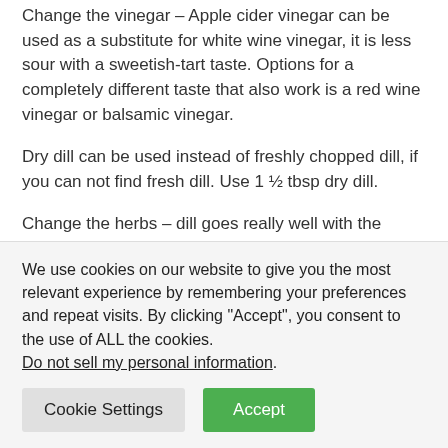Change the vinegar – Apple cider vinegar can be used as a substitute for white wine vinegar, it is less sour with a sweetish-tart taste. Options for a completely different taste that also work is a red wine vinegar or balsamic vinegar.
Dry dill can be used instead of freshly chopped dill, if you can not find fresh dill. Use 1 ½ tbsp dry dill.
Change the herbs – dill goes really well with the cucumber and vinaigrette, but if you do not have dill , chopped parsley also tastes good see our keto cucumber salad
We use cookies on our website to give you the most relevant experience by remembering your preferences and repeat visits. By clicking “Accept”, you consent to the use of ALL the cookies. Do not sell my personal information.